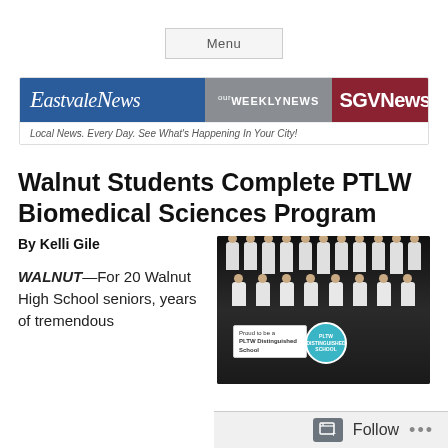Menu
[Figure (logo): Eastvale News / Our Weekly News / SGV News combined masthead logo with blue, gray, and red sections. Tagline: Local News. Every Day. See What's Happening In Your City!]
Walnut Students Complete PTLW Biomedical Sciences Program
By Kelli Gile
WALNUT—For 20 Walnut High School seniors, years of tremendous
[Figure (photo): Group photo of approximately 20 students in white lab coats with purple medals, holding a banner reading 'Proud to be a PLTW Distinguished School']